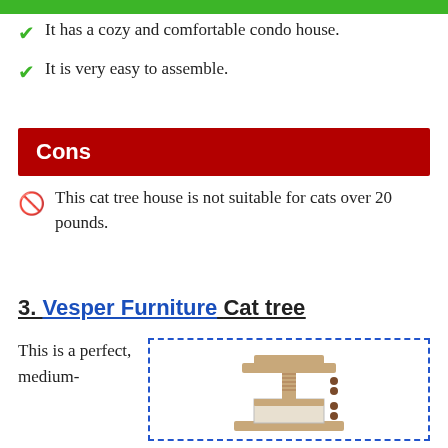It has a cozy and comfortable condo house.
It is very easy to assemble.
Cons
This cat tree house is not suitable for cats over 20 pounds.
3. Vesper Furniture Cat tree
This is a perfect, medium-
[Figure (photo): Photo of a cat tree with dashed blue border — tan/beige multi-level cat tree with scratching posts and condo area]